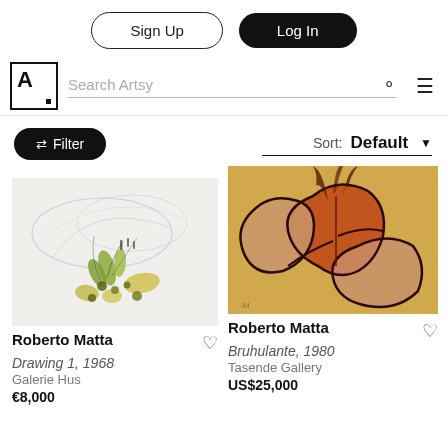Sign Up
Log In
Search Artsy
Filter
Sort: Default
[Figure (illustration): Abstract botanical drawing with green and yellow organic shapes on white background - Roberto Matta, Drawing 1, 1968]
Roberto Matta
Drawing 1, 1968
Galerie Hus
€8,000
[Figure (illustration): Abstract surrealist painting with orange and red organic figures on warm background - Roberto Matta, Bruhulante, 1980]
Roberto Matta
Bruhulante, 1980
Tasende Gallery
US$25,000